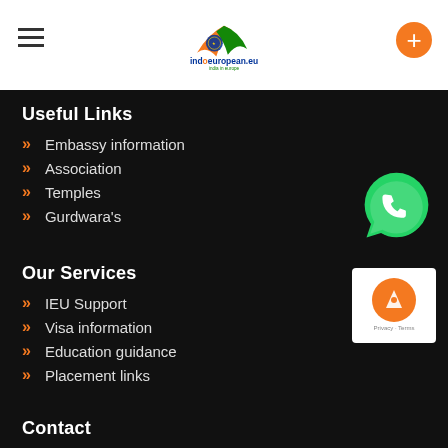indoeuropean.eu — india in europe
Useful Links
Embassy information
Association
Temples
Gurdwara's
Our Services
IEU Support
Visa information
Education guidance
Placement links
[Figure (logo): WhatsApp icon (green circular logo with phone handset)]
[Figure (logo): reCAPTCHA badge with orange circle and rocket icon, Privacy - Terms text]
Contact